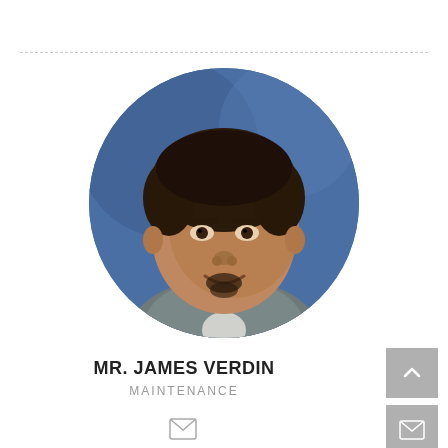[Figure (photo): Circular headshot photo of Mr. James Verdin against a blue background, smiling man with dark hair and goatee wearing a grey shirt.]
MR. JAMES VERDIN
MAINTENANCE